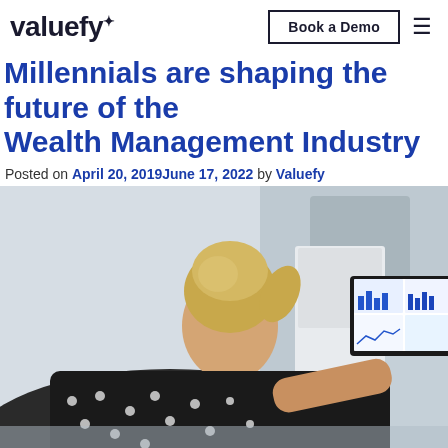valuefy | Book a Demo
Millennials are shaping the future of the Wealth Management Industry
Posted on April 20, 2019June 17, 2022 by Valuefy
[Figure (photo): Woman with blonde hair in ponytail seen from behind, wearing black and white polka dot top, working on a laptop displaying financial charts and analytics dashboards. Office/home setting with blurred background.]